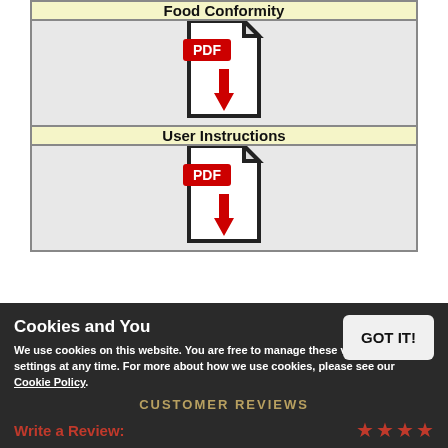| Food Conformity |
| [PDF download icon] |
| User Instructions |
| [PDF download icon] |
Cookies and You
We use cookies on this website. You are free to manage these via your browser settings at any time. For more about how we use cookies, please see our Cookie Policy.
GOT IT!
CUSTOMER REVIEWS
Write a Review: